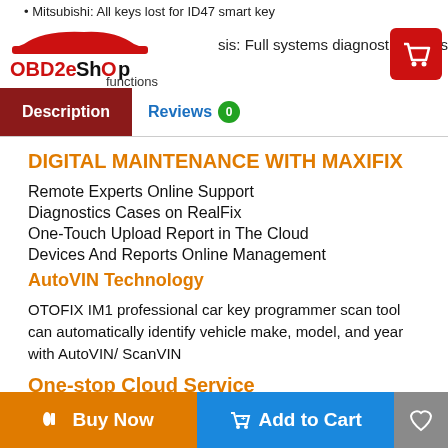• Mitsubishi: All keys lost for ID47 smart key
OBD2eShOp | sis: Full systems diagnostics and services functions
Description | Reviews 0
DIGITAL MAINTENANCE WITH MAXIFIX
Remote Experts Online Support
Diagnostics Cases on RealFix
One-Touch Upload Report in The Cloud
Devices And Reports Online Management
AutoVIN Technology
OTOFIX IM1 professional car key programmer scan tool can automatically identify vehicle make, model, and year with AutoVIN/ ScanVIN
One-stop Cloud Service
Buy Now | Add to Cart | (wishlist)